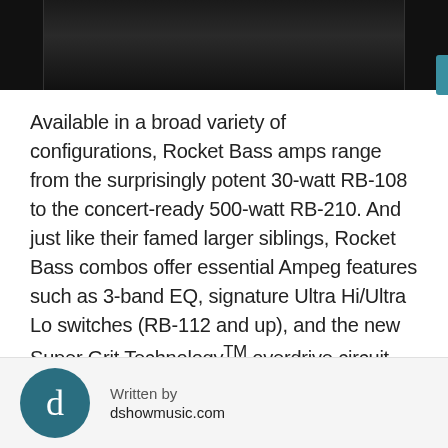[Figure (photo): Top portion of a dark-colored Ampeg Rocket Bass amplifier against a black background]
Available in a broad variety of configurations, Rocket Bass amps range from the surprisingly potent 30-watt RB-108 to the concert-ready 500-watt RB-210. And just like their famed larger siblings, Rocket Bass combos offer essential Ampeg features such as 3-band EQ, signature Ultra Hi/Ultra Lo switches (RB-112 and up), and the new Super Grit Technology™ overdrive circuit, all of which combine to produce legendary Ampeg tone. Plus, XLR line outputs (except RB-108), auxiliary inputs, and headphone outputs ensure that Rocket Bass
Written by
dshowmusic.com